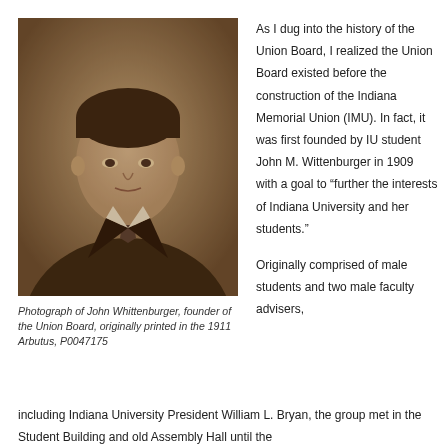[Figure (photo): Sepia-toned portrait photograph of John Whittenburger, a young man in a suit and tie, facing slightly to the right.]
Photograph of John Whittenburger, founder of the Union Board, originally printed in the 1911 Arbutus, P0047175
As I dug into the history of the Union Board, I realized the Union Board existed before the construction of the Indiana Memorial Union (IMU). In fact, it was first founded by IU student John M. Wittenburger in 1909 with a goal to “further the interests of Indiana University and her students.”
Originally comprised of male students and two male faculty advisers, including Indiana University President William L. Bryan, the group met in the Student Building and old Assembly Hall until the